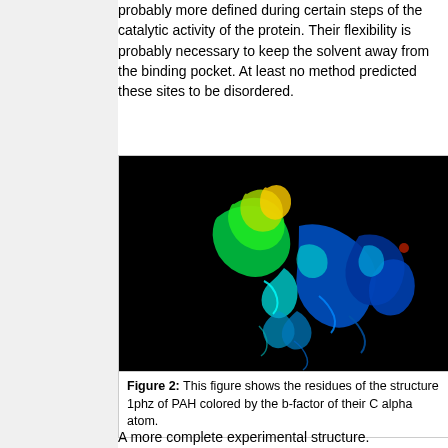probably more defined during certain steps of the catalytic activity of the protein. Their flexibility is probably necessary to keep the solvent away from the binding pocket. At least no method predicted these sites to be disordered.
[Figure (photo): Protein structure 1phz of PAH shown as a ribbon diagram on a black background, colored by b-factor of Cα atoms using a rainbow spectrum from blue (low) to red (high), showing alpha helices and loops.]
Figure 2: This figure shows the residues of the structure 1phz of PAH colored by the b-factor of their C alpha atom.
A more complete experimental structure.